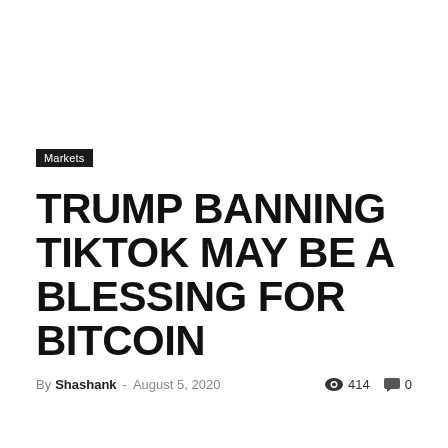Markets
TRUMP BANNING TIKTOK MAY BE A BLESSING FOR BITCOIN
By Shashank - August 5, 2020   👁 414   💬 0